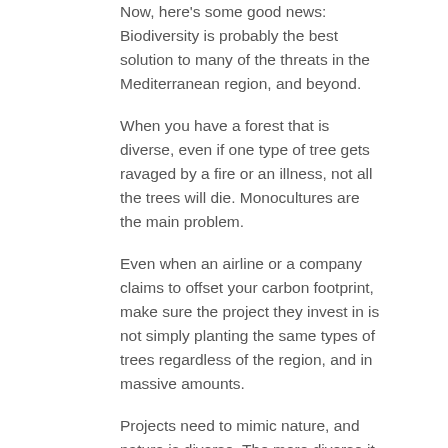Now, here's some good news: Biodiversity is probably the best solution to many of the threats in the Mediterranean region, and beyond.
When you have a forest that is diverse, even if one type of tree gets ravaged by a fire or an illness, not all the trees will die. Monocultures are the main problem.
Even when an airline or a company claims to offset your carbon footprint, make sure the project they invest in is not simply planting the same types of trees regardless of the region, and in massive amounts.
Projects need to mimic nature, and nature is diverse. The more diverse it is, the better chance to resist fires.
That's the beauty of nature: diversity.
Biodiversity also provides food for locals (and travellers!)